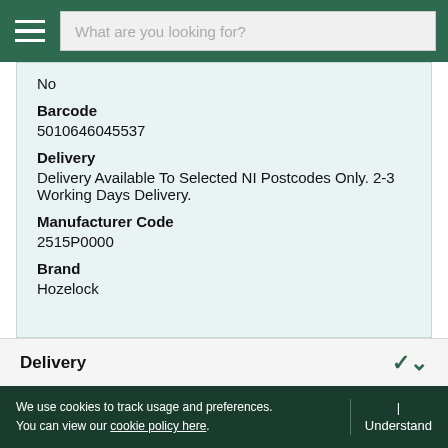What are you looking for?
No
Barcode
5010646045537
Delivery
Delivery Available To Selected NI Postcodes Only. 2-3 Working Days Delivery.
Manufacturer Code
2515P0000
Brand
Hozelock
Delivery
We use cookies to track usage and preferences. You can find our cookie policy here. | Understand